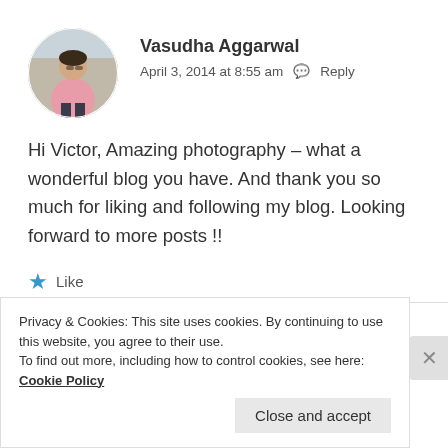[Figure (photo): Circular avatar photo of Vasudha Aggarwal, a woman in a pink jacket standing outdoors]
Vasudha Aggarwal
April 3, 2014 at 8:55 am  Reply
Hi Victor, Amazing photography – what a wonderful blog you have. And thank you so much for liking and following my blog. Looking forward to more posts !!
★ Like
[Figure (photo): Circular avatar of another commenter, partially visible at bottom]
Privacy & Cookies: This site uses cookies. By continuing to use this website, you agree to their use.
To find out more, including how to control cookies, see here: Cookie Policy
Close and accept